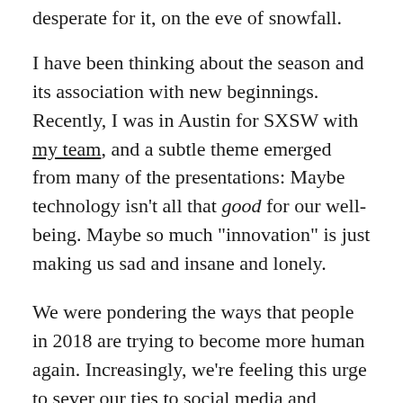desperate for it, on the eve of snowfall.
I have been thinking about the season and its association with new beginnings. Recently, I was in Austin for SXSW with my team, and a subtle theme emerged from many of the presentations: Maybe technology isn’t all that good for our well-being. Maybe so much “innovation” is just making us sad and insane and lonely.
We were pondering the ways that people in 2018 are trying to become more human again. Increasingly, we’re feeling this urge to sever our ties to social media and detach from our soul-crushing dependence on digital devices.